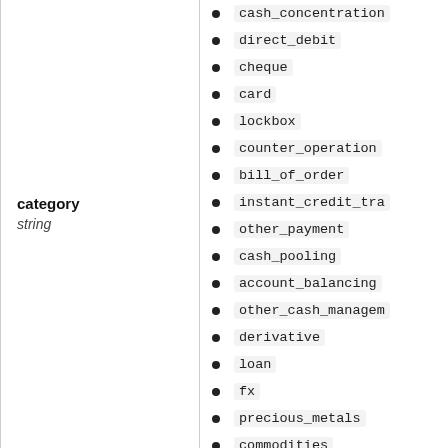category
string
cash_concentration
direct_debit
cheque
card
lockbox
counter_operation
bill_of_order
instant_credit_transfer
other_payment
cash_pooling
account_balancing
other_cash_management
derivative
loan
fx
precious_metals
commodities
trade_services